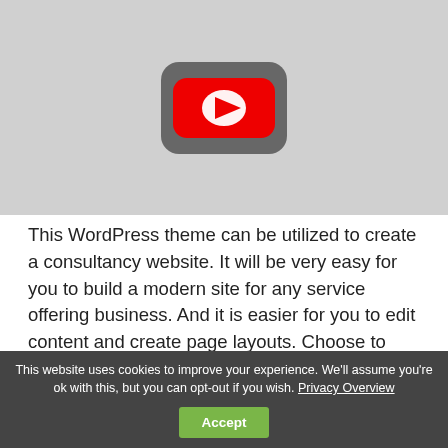[Figure (screenshot): YouTube video thumbnail placeholder showing the YouTube play button logo (red rectangle with white triangle) on a light gray background]
This WordPress theme can be utilized to create a consultancy website. It will be very easy for you to build a modern site for any service offering business. And it is easier for you to edit content and create page layouts. Choose to use the progress bars, graphs, and custom pie charts to present and showcase your services.
This website uses cookies to improve your experience. We'll assume you're ok with this, but you can opt-out if you wish. Privacy Overview  Accept